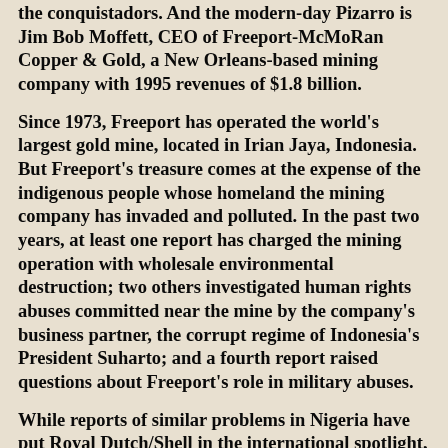the conquistadors. And the modern-day Pizarro is Jim Bob Moffett, CEO of Freeport-McMoRan Copper & Gold, a New Orleans-based mining company with 1995 revenues of $1.8 billion.
Since 1973, Freeport has operated the world's largest gold mine, located in Irian Jaya, Indonesia. But Freeport's treasure comes at the expense of the indigenous people whose homeland the mining company has invaded and polluted. In the past two years, at least one report has charged the mining operation with wholesale environmental destruction; two others investigated human rights abuses committed near the mine by the company's business partner, the corrupt regime of Indonesia's President Suharto; and a fourth report raised questions about Freeport's role in military abuses.
While reports of similar problems in Nigeria have put Royal Dutch/Shell in the international spotlight, Freeport has largely avoided scrutiny, in part because